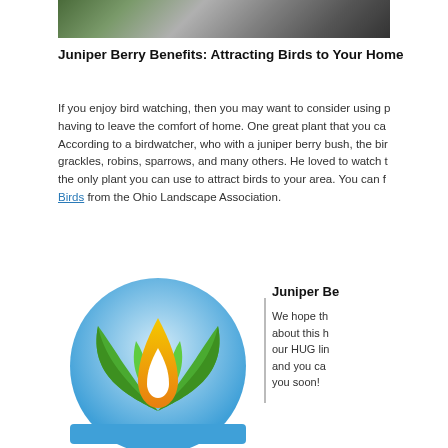[Figure (photo): Top portion of a photo showing juniper berries on a wooden surface with foliage]
Juniper Berry Benefits: Attracting Birds to Your Home
If you enjoy bird watching, then you may want to consider using plants to attract birds without having to leave the comfort of home. One great plant that you can use is the juniper berry bush. According to a birdwatcher, who with a juniper berry bush, the birds who visited included grackles, robins, sparrows, and many others. He loved to watch them! Juniper berries are not the only plant you can use to attract birds to your area. You can find a list of Plants that Attract Birds from the Ohio Landscape Association.
Juniper Be...
We hope th... about this h... our HUG lin... and you ca... you soon!
[Figure (logo): Ohio Landscape Association or HUG logo: green leaf/flame design inside a blue circle with blue base]